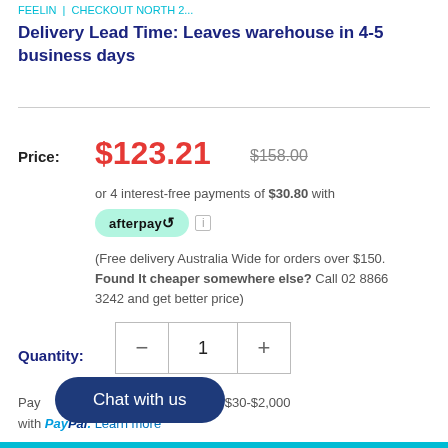FEELIN | CHECKOUT NORTH 2...
Delivery Lead Time: Leaves warehouse in 4-5 business days
Price: $123.21  $158.00
or 4 interest-free payments of $30.80 with afterpay
(Free delivery Australia Wide for orders over $150. Found It cheaper somewhere else? Call 02 8866 3242 and get better price)
Quantity: 1
Pay in 4 payments on purchases of $30-$2,000 with PayPal. Learn more